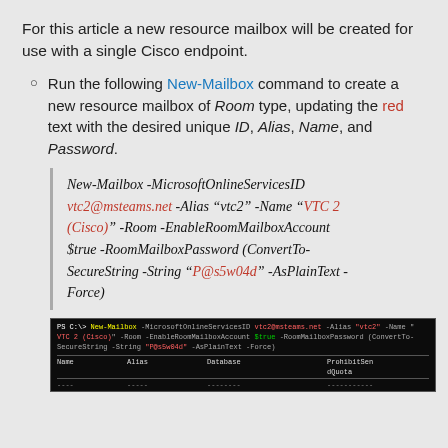For this article a new resource mailbox will be created for use with a single Cisco endpoint.
Run the following New-Mailbox command to create a new resource mailbox of Room type, updating the red text with the desired unique ID, Alias, Name, and Password.
New-Mailbox -MicrosoftOnlineServicesID vtc2@msteams.net -Alias "vtc2" -Name "VTC 2 (Cisco)" -Room -EnableRoomMailboxAccount $true -RoomMailboxPassword (ConvertTo-SecureString -String "P@s5w04d" -AsPlainText -Force)
[Figure (screenshot): PowerShell terminal window showing the New-Mailbox command being run, with columns Name, Alias, Database, ProhibitSendQuota visible in the output table]